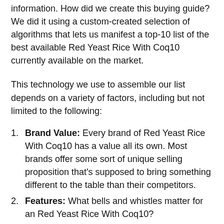simply about finding and in providing the collected information. How did we create this buying guide? We did it using a custom-created selection of algorithms that lets us manifest a top-10 list of the best available Red Yeast Rice With Coq10 currently available on the market.
This technology we use to assemble our list depends on a variety of factors, including but not limited to the following:
Brand Value: Every brand of Red Yeast Rice With Coq10 has a value all its own. Most brands offer some sort of unique selling proposition that's supposed to bring something different to the table than their competitors.
Features: What bells and whistles matter for an Red Yeast Rice With Coq10?
Specifications: How powerful they are can be measured.
Product Value: his simply is how much bang for the